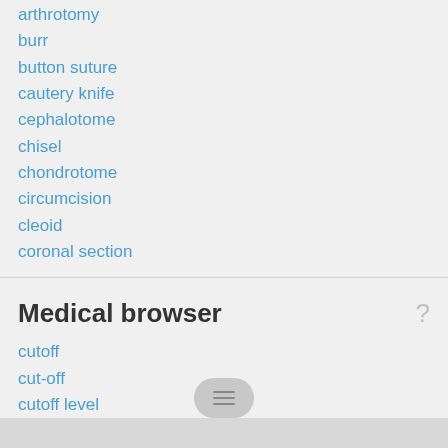arthrotomy
burr
button suture
cautery knife
cephalotome
chisel
chondrotome
circumcision
cleoid
coronal section
Medical browser
cutoff
cut-off
cutoff level
cut-off sign
cutpoint
cuts it out
cutter
cutting